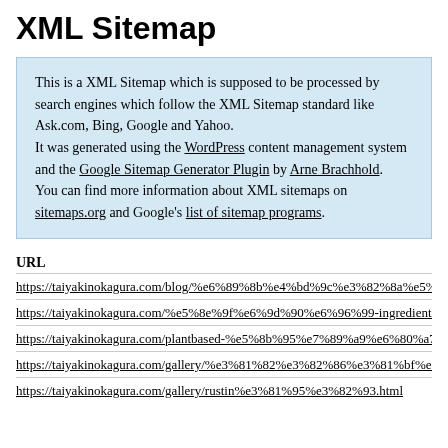XML Sitemap
This is a XML Sitemap which is supposed to be processed by search engines which follow the XML Sitemap standard like Ask.com, Bing, Google and Yahoo.
It was generated using the WordPress content management system and the Google Sitemap Generator Plugin by Arne Brachhold.
You can find more information about XML sitemaps on sitemaps.org and Google's list of sitemap programs.
URL
https://taiyakinokagura.com/blog/%e6%89%8b%e4%bd%9c%e3%82%8a%e5%a1%a9%e9%9ba%...
https://taiyakinokagura.com/%e5%8e%9f%e6%9d%90%e6%96%99-ingredients/%e7%84%bc%e...
https://taiyakinokagura.com/plantbased-%e5%8b%95%e7%89%a9%e6%80%a7%e7%b4%a0%e6...
https://taiyakinokagura.com/gallery/%e3%81%82%e3%82%86%e3%81%bf%e3%81%a1%e3%82...
https://taiyakinokagura.com/gallery/rustin%e3%81%95%e3%82%93.html